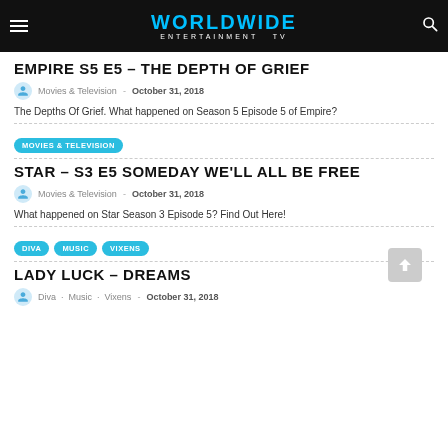WORLDWIDE ENTERTAINMENT TV
EMPIRE S5 E5 – THE DEPTH OF GRIEF
Movies & Television  -  October 31, 2018
The Depths Of Grief. What happened on Season 5 Episode 5 of Empire?
STAR – S3 E5 SOMEDAY WE'LL ALL BE FREE
Movies & Television  -  October 31, 2018
What happened on Star Season 3 Episode 5? Find Out Here!
LADY LUCK – DREAMS
Diva  ·  Music  ·  Vixens  -  October 31, 2018